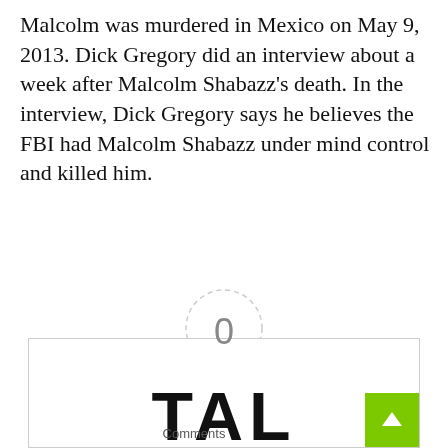Malcolm was murdered in Mexico on May 9, 2013. Dick Gregory did an interview about a week after Malcolm Shabazz's death. In the interview, Dick Gregory says he believes the FBI had Malcolm Shabazz under mind control and killed him.
[Figure (other): Article rating widget showing 0 rating with dashed circle, dash separators, 'Article Rating' label, and 5 filled black stars]
[Figure (logo): Logo box with border showing text 'TAL' in large bold letters, a green back-to-top button in lower right, and partially visible 'Comments' text at bottom]